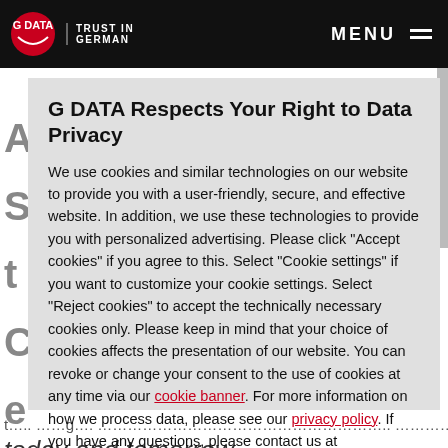G DATA | TRUST IN GERMAN | MENU
G DATA Respects Your Right to Data Privacy
We use cookies and similar technologies on our website to provide you with a user-friendly, secure, and effective website. In addition, we use these technologies to provide you with personalized advertising. Please click "Accept cookies" if you agree to this. Select "Cookie settings" if you want to customize your cookie settings. Select "Reject cookies" to accept the technically necessary cookies only. Please keep in mind that your choice of cookies affects the presentation of our website. You can revoke or change your consent to the use of cookies at any time via our cookie banner. For more information on how we process data, please see our privacy policy. If you have any questions, please contact us at info@gdata.de.
today and tomorrow.